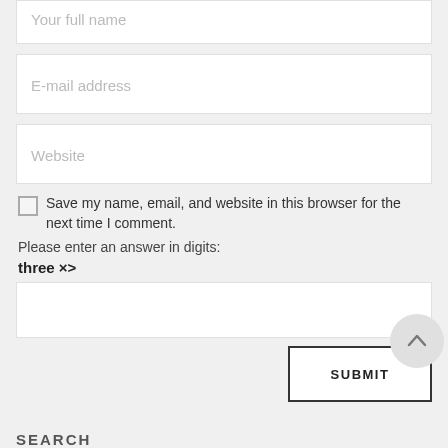Your full name
E-mail address
Website
Save my name, email, and website in this browser for the next time I comment.
Please enter an answer in digits:
three × one =
SUBMIT
SEARCH